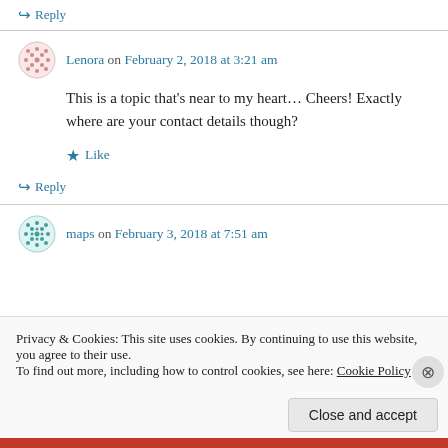↪ Reply
Lenora on February 2, 2018 at 3:21 am
This is a topic that's near to my heart… Cheers! Exactly where are your contact details though?
★ Like
↪ Reply
maps on February 3, 2018 at 7:51 am
Privacy & Cookies: This site uses cookies. By continuing to use this website, you agree to their use. To find out more, including how to control cookies, see here: Cookie Policy
Close and accept